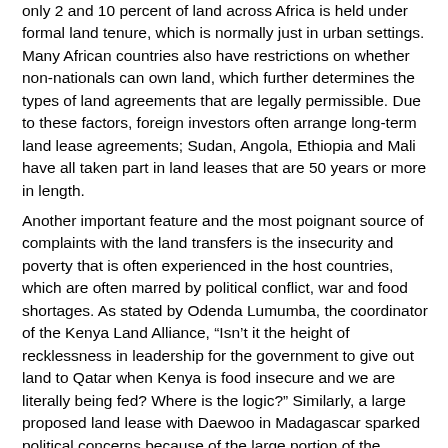only 2 and 10 percent of land across Africa is held under formal land tenure, which is normally just in urban settings. Many African countries also have restrictions on whether non-nationals can own land, which further determines the types of land agreements that are legally permissible. Due to these factors, foreign investors often arrange long-term land lease agreements; Sudan, Angola, Ethiopia and Mali have all taken part in land leases that are 50 years or more in length.
Another important feature and the most poignant source of complaints with the land transfers is the insecurity and poverty that is often experienced in the host countries, which are often marred by political conflict, war and food shortages. As stated by Odenda Lumumba, the coordinator of the Kenya Land Alliance, “Isn’t it the height of recklessness in leadership for the government to give out land to Qatar when Kenya is food insecure and we are literally being fed? Where is the logic?” Similarly, a large proposed land lease with Daewoo in Madagascar sparked political concerns because of the large portion of the population living in poverty, and the state of food insecurity in the country. A May 2009 article inThe Economist noted the irony of Saudi Arabia spending